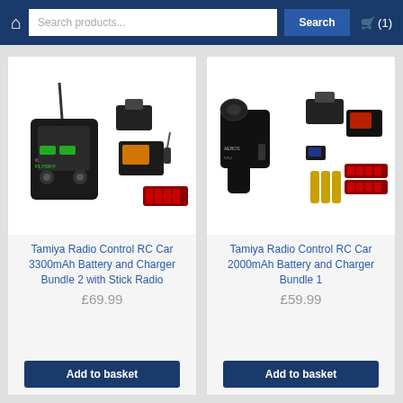Search products... Search (1)
[Figure (photo): RC car radio control bundle with transmitter, servo, battery, charger and AA batteries - 3300mAh with Stick Radio]
Tamiya Radio Control RC Car 3300mAh Battery and Charger Bundle 2 with Stick Radio
£69.99
Add to basket
[Figure (photo): RC car radio control bundle with transmitter, servo, battery, charger and AA batteries - 2000mAh]
Tamiya Radio Control RC Car 2000mAh Battery and Charger Bundle 1
£59.99
Add to basket